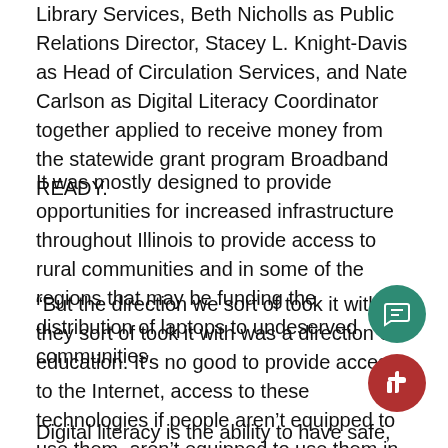Library Services, Beth Nicholls as Public Relations Director, Stacey L. Knight-Davis as Head of Circulation Services, and Nate Carlson as Digital Literacy Coordinator together applied to receive money from the statewide grant program Broadband READY.
It was mostly designed to provide opportunities for increased infrastructure throughout Illinois to provide access to rural communities and in some of the regions that may be funding the distribution of laptops to undeserved communities.
“But the direction we sort of took it with or they sort of took it with was a direction of education. It’s no good to provide access to the Internet, access to these technologies if people aren’t equipped to use them, aren’t equipped to use them in productive or responsible or effective ways,” Carlson said.
Digital literacy is the ability to have safe, informed, and